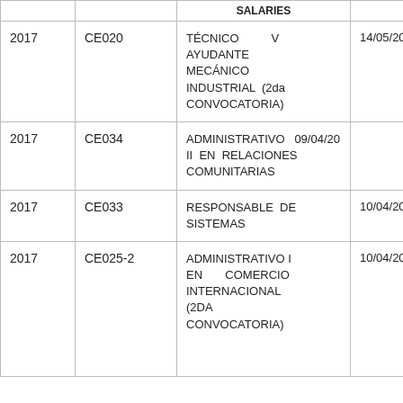|  |  | SALARIES |  |
| --- | --- | --- | --- |
| 2017 | CE020 | TÉCNICO V AYUDANTE MECÁNICO INDUSTRIAL (2da CONVOCATORIA) | 14/05/20 |
| 2017 | CE034 | ADMINISTRATIVO II EN RELACIONES COMUNITARIAS | 09/04/20 |
| 2017 | CE033 | RESPONSABLE DE SISTEMAS | 10/04/20 |
| 2017 | CE025-2 | ADMINISTRATIVO I EN COMERCIO INTERNACIONAL (2DA CONVOCATORIA) | 10/04/20 |